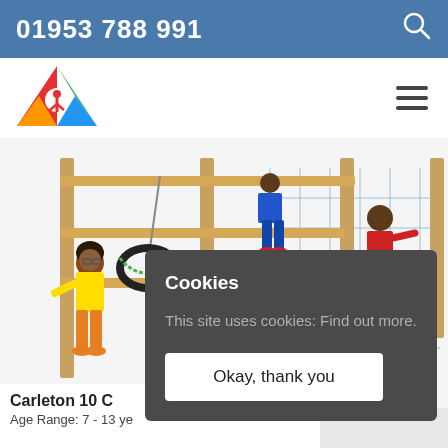01953 788 991
[Figure (logo): Colorful triangle logo with a figure inside]
[Figure (illustration): 3D rendered playground climbing frame with children playing on it, including a tire swing]
Carleton 10 C
Age Range: 7 - 13 ye
Cookies
This site uses cookies: Find out more.
Okay, thank you